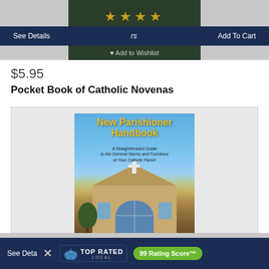[Figure (screenshot): Top section showing a dark green book cover with four gold stars, a dark navy blue button bar with 'See Details' on left, 'rs' in center, 'Add To Cart' on right, and an 'Add to Wishlist' option below on the green cover area, all on a light gray background.]
$5.95
Pocket Book of Catholic Novenas
[Figure (photo): Product listing card showing the cover of 'New Parishioner Handbook: A Straightforward Guide to the General Norms and Functions of Your Catholic Parish' - a book with a blue sky background and photo of a Catholic church building with a cross on top and an arched window.]
[Figure (screenshot): Bottom overlay bar in dark navy blue showing 'See Deta' text on left (partially obscured), an X close button, a 'TOP RATED LOCAL' badge with a bird logo, and a green rounded badge showing '99 Rating Score™'.]